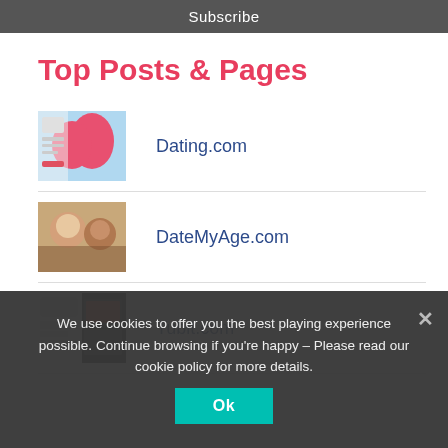Subscribe
Top Posts & Pages
Dating.com
DateMyAge.com
Tubit.com
We use cookies to offer you the best playing experience possible. Continue browsing if you're happy – Please read our cookie policy for more details.
Ok